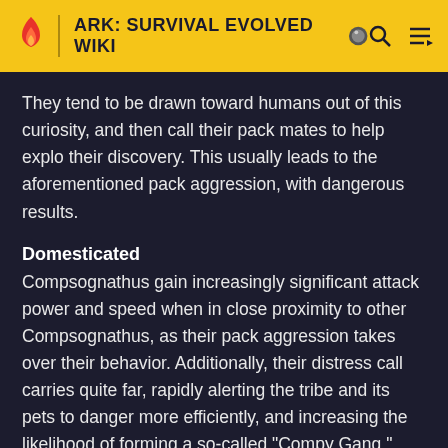ARK: SURVIVAL EVOLVED WIKI
They tend to be drawn toward humans out of this curiosity, and then call their pack mates to help explo their discovery. This usually leads to the aforementioned pack aggression, with dangerous results.
Domesticated
Compsognathus gain increasingly significant attack power and speed when in close proximity to other Compsognathus, as their pack aggression takes over their behavior. Additionally, their distress call carries quite far, rapidly alerting the tribe and its pets to danger more efficiently, and increasing the likelihood of forming a so-called "Compy Gang."